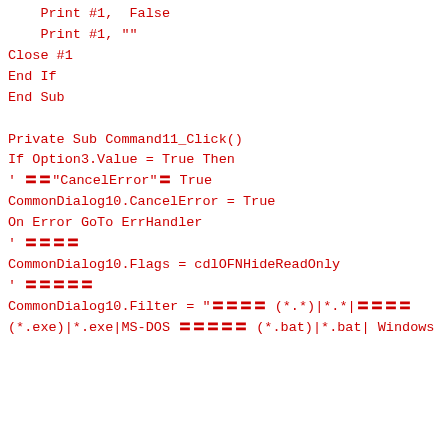Print #1,  False
    Print #1, ""
Close #1
End If
End Sub

Private Sub Command11_Click()
If Option3.Value = True Then
' 〓〓"CancelError"〓 True
CommonDialog10.CancelError = True
On Error GoTo ErrHandler
' 〓〓〓〓
CommonDialog10.Flags = cdlOFNHideReadOnly
' 〓〓〓〓〓
CommonDialog10.Filter = "〓〓〓〓 (*.*)|*.*|〓〓〓〓 (*.exe)|*.exe|MS-DOS 〓〓〓〓〓 (*.bat)|*.bat| Windows